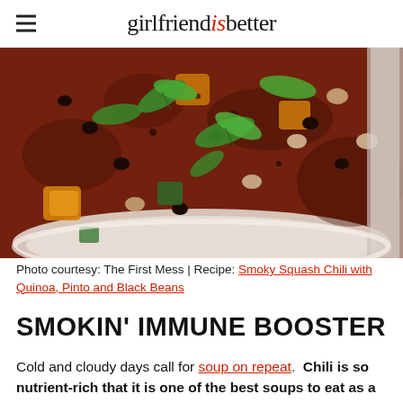girlfriend is better
[Figure (photo): Close-up overhead photo of a white bowl filled with smoky squash chili topped with cilantro and mixed beans including black beans and pinto beans, with a spoon visible at the right edge.]
Photo courtesy: The First Mess | Recipe: Smoky Squash Chili with Quinoa, Pinto and Black Beans
SMOKIN' IMMUNE BOOSTER
Cold and cloudy days call for soup on repeat.  Chili is so nutrient-rich that it is one of the best soups to eat as a way of keeping your immune system